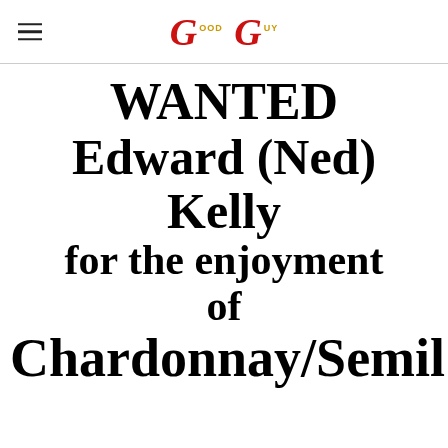GG
WANTED Edward (Ned) Kelly for the enjoyment of Chardonnay/Semil